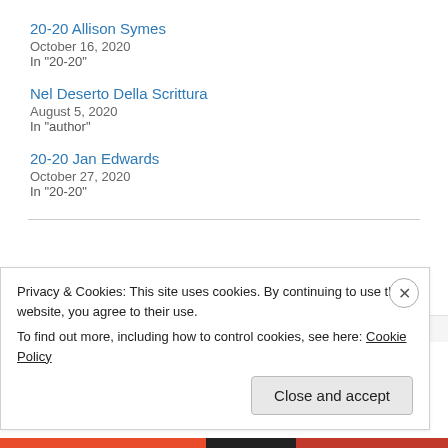20-20 Allison Symes
October 16, 2020
In "20-20"
Nel Deserto Della Scrittura
August 5, 2020
In "author"
20-20 Jan Edwards
October 27, 2020
In "20-20"
January 2, 2013
4 Replies
Privacy & Cookies: This site uses cookies. By continuing to use this website, you agree to their use.
To find out more, including how to control cookies, see here: Cookie Policy
Close and accept